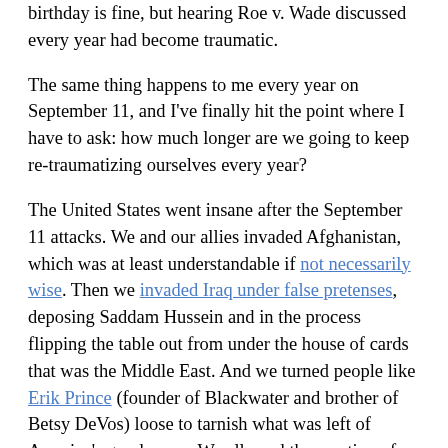birthday is fine, but hearing Roe v. Wade discussed every year had become traumatic.
The same thing happens to me every year on September 11, and I've finally hit the point where I have to ask: how much longer are we going to keep re-traumatizing ourselves every year?
The United States went insane after the September 11 attacks. We and our allies invaded Afghanistan, which was at least understandable if not necessarily wise. Then we invaded Iraq under false pretenses, deposing Saddam Hussein and in the process flipping the table out from under the house of cards that was the Middle East. And we turned people like Erik Prince (founder of Blackwater and brother of Betsy DeVos) loose to tarnish what was left of America's good name. We allowed the creation of the USA PATRIOT ACT, warrantless wiretapping, and the creation of the Guantanamo Bay prison and a parallel justice system outside the purview of the Supreme Court, all of which are